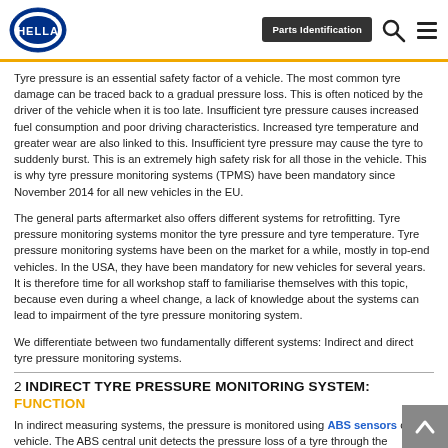HELLA | Parts Identification
Tyre pressure is an essential safety factor of a vehicle. The most common tyre damage can be traced back to a gradual pressure loss. This is often noticed by the driver of the vehicle when it is too late. Insufficient tyre pressure causes increased fuel consumption and poor driving characteristics. Increased tyre temperature and greater wear are also linked to this. Insufficient tyre pressure may cause the tyre to suddenly burst. This is an extremely high safety risk for all those in the vehicle. This is why tyre pressure monitoring systems (TPMS) have been mandatory since November 2014 for all new vehicles in the EU.
The general parts aftermarket also offers different systems for retrofitting. Tyre pressure monitoring systems monitor the tyre pressure and tyre temperature. Tyre pressure monitoring systems have been on the market for a while, mostly in top-end vehicles. In the USA, they have been mandatory for new vehicles for several years. It is therefore time for all workshop staff to familiarise themselves with this topic, because even during a wheel change, a lack of knowledge about the systems can lead to impairment of the tyre pressure monitoring system.
We differentiate between two fundamentally different systems: Indirect and direct tyre pressure monitoring systems.
2 INDIRECT TYRE PRESSURE MONITORING SYSTEM: FUNCTION
In indirect measuring systems, the pressure is monitored using ABS sensors on the vehicle. The ABS central unit detects the pressure loss of a tyre through the